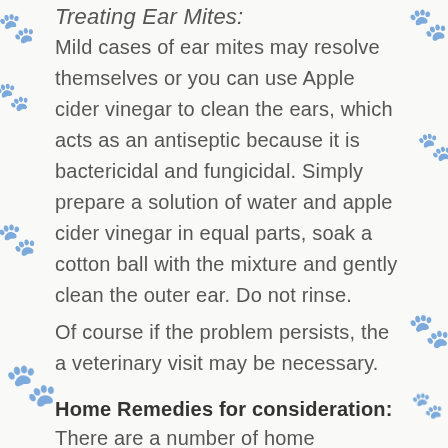Treating Ear Mites:
Mild cases of ear mites may resolve themselves or you can use Apple cider vinegar to clean the ears, which acts as an antiseptic because it is bactericidal and fungicidal. Simply prepare a solution of water and apple cider vinegar in equal parts, soak a cotton ball with the mixture and gently clean the outer ear. Do not rinse.
Of course if the problem persists, the a veterinary visit may be necessary.
Home Remedies for consideration:
There are a number of home remedies for the treatment of mange that can relieve the clinical signs and serve as a